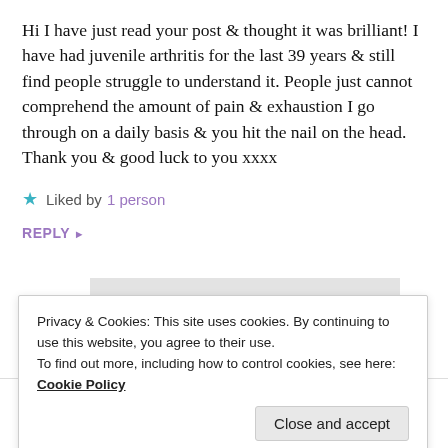Hi I have just read your post & thought it was brilliant! I have had juvenile arthritis for the last 39 years & still find people struggle to understand it. People just cannot comprehend the amount of pain & exhaustion I go through on a daily basis & you hit the nail on the head. Thank you & good luck to you xxxx
Liked by 1 person
REPLY ▸
Privacy & Cookies: This site uses cookies. By continuing to use this website, you agree to their use.
To find out more, including how to control cookies, see here:
Cookie Policy
Close and accept
luck to you too xx